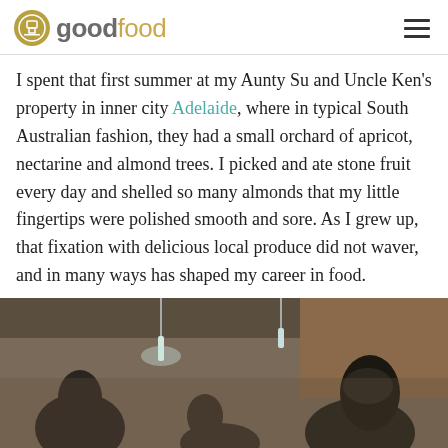goodfood
I spent that first summer at my Aunty Su and Uncle Ken's property in inner city Adelaide, where in typical South Australian fashion, they had a small orchard of apricot, nectarine and almond trees. I picked and ate stone fruit every day and shelled so many almonds that my little fingertips were polished smooth and sore. As I grew up, that fixation with delicious local produce did not waver, and in many ways has shaped my career in food.
[Figure (photo): People dining inside a restaurant, with pendant bottle lights hanging from the ceiling and brick walls in the background.]
Social share bar with Facebook, Pinterest, Twitter, LinkedIn, and Email icons